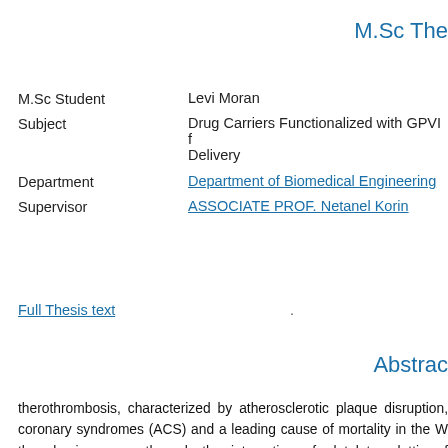M.Sc The
| M.Sc Student | Levi Moran |
| Subject | Drug Carriers Functionalized with GPVI for Delivery |
| Department | Department of Biomedical Engineering |
| Supervisor | ASSOCIATE PROF. Netanel Korin |
Full Thesis text
Abstrac
therothrombosis, characterized by atherosclerotic plaque disruption, coronary syndromes (ACS) and a leading cause of mortality in the W thrombosis occurs through the interaction of platelets, clotting f exposed on atherosclerotic lesion. Platelets play a key role in this pr VI (GPVI) and indirectly through von Willebrand factor (vWF) a mainly composed of aggregated platelets and antiplatelet medicatio platelet aggregation. However, there are also bleeding risks that nee